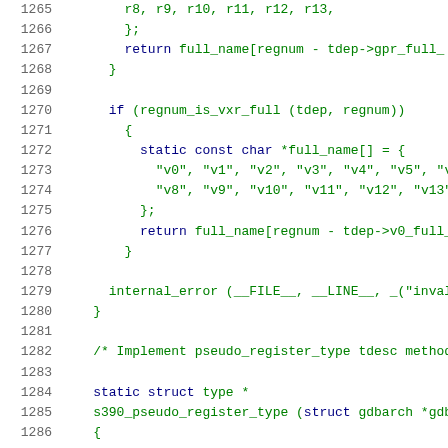Source code listing lines 1265-1286 of a C file showing register name lookup functions for s390 architecture in GDB
[Figure (screenshot): C source code with line numbers 1265-1286, showing functions for register name lookup including regnum_is_vxr_full check, static const char arrays for register names v0-v13, and pseudo_register_type method stub]